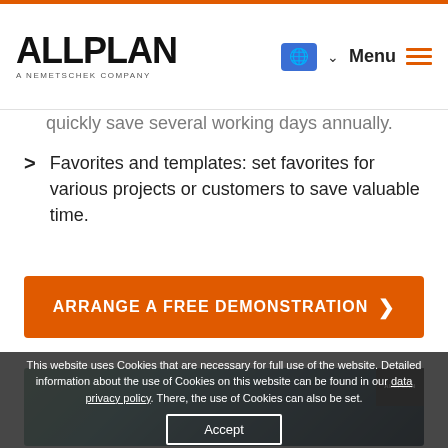ALLPLAN A NEMETSCHEK COMPANY
specific annual. With just one large project, you can quickly save several working days annually.
Favorites and templates: set favorites for various projects or customers to save valuable time.
ARRANGE A FREE DEMONSTRATION >
[Figure (screenshot): Allplan software interface screenshot partially visible behind cookie consent overlay]
This website uses Cookies that are necessary for full use of the website. Detailed information about the use of Cookies on this website can be found in our data privacy policy. There, the use of Cookies can also be set.
Accept